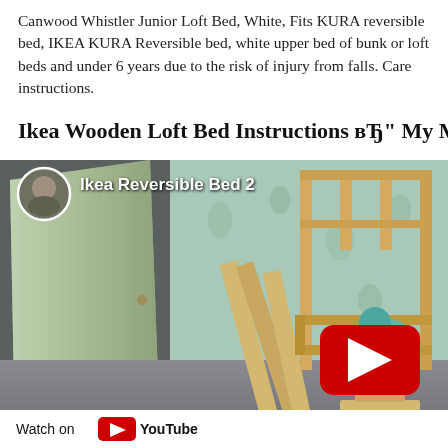Canwood Whistler Junior Loft Bed, White, Fits KURA reversible bed, IKEA KURA Reversible bed, white upper bed of bunk or loft beds and under 6 years due to the risk of injury from falls. Care instructions.
Ikea Wooden Loft Bed Instructions вЂ" My MARKeting
[Figure (screenshot): YouTube video thumbnail showing a room with a wooden bed frame being assembled. A child in teal clothing sits inside the frame. Video title overlay reads 'Ikea Reversible Bed 2' with a circular avatar of a man. A red YouTube play button is centered. Bottom bar shows 'Watch on YouTube' logo.]